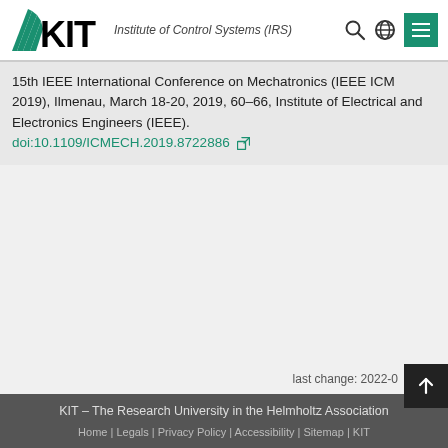KIT – Institute of Control Systems (IRS)
15th IEEE International Conference on Mechatronics (IEEE ICM 2019), Ilmenau, March 18-20, 2019, 60–66, Institute of Electrical and Electronics Engineers (IEEE). doi:10.1109/ICMECH.2019.8722886
last change: 2022-0
KIT – The Research University in the Helmholtz Association
Home | Legals | Privacy Policy | Accessibility | Sitemap | KIT